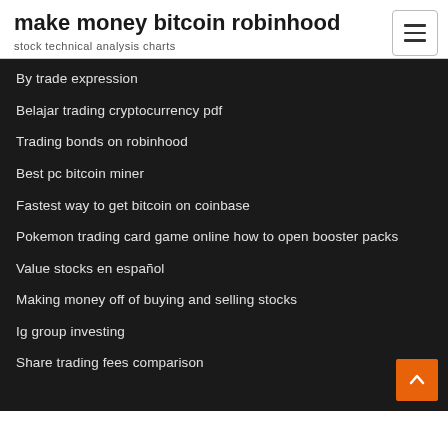make money bitcoin robinhood
stock technical analysis charts
By trade expression
Belajar trading cryptocurrency pdf
Trading bonds on robinhood
Best pc bitcoin miner
Fastest way to get bitcoin on coinbase
Pokemon trading card game online how to open booster packs
Value stocks en español
Making money off of buying and selling stocks
Ig group investing
Share trading fees comparison